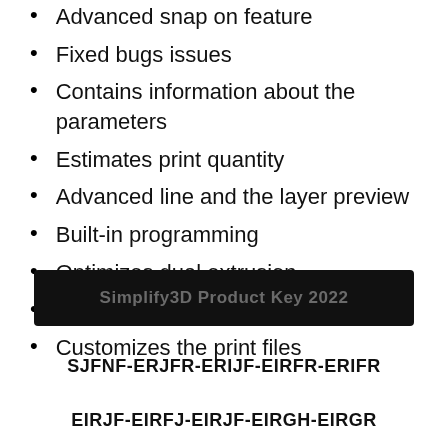Advanced snap on feature
Fixed bugs issues
Contains information about the parameters
Estimates print quantity
Advanced line and the layer preview
Built-in programming
Optimizes dual extrusion
Built-in scripting engine
Customizes the print files
[Figure (other): Black banner with text: Simplify3D Product Key 2022]
SJFNF-ERJFR-ERIJF-EIRFR-ERIFR
EIRJF-EIRFJ-EIRJF-EIRGH-EIRGR